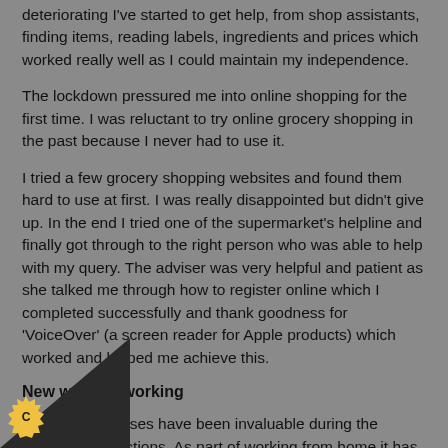deteriorating I've started to get help, from shop assistants, finding items, reading labels, ingredients and prices which worked really well as I could maintain my independence.
The lockdown pressured me into online shopping for the first time. I was reluctant to try online grocery shopping in the past because I never had to use it.
I tried a few grocery shopping websites and found them hard to use at first. I was really disappointed but didn't give up. In the end I tried one of the supermarket's helpline and finally got through to the right person who was able to help with my query. The adviser was very helpful and patient as she talked me through how to register online which I completed successfully and thank goodness for 'VoiceOver' (a screen reader for Apple products) which worked and helped me achieve this.
New ways of working
My OrCam glasses have been invaluable during the lockdown restrictions. As part of working from home it has taken me a little while to have all of my IT systems up and running. Regular 'error' messages appearing when I try to log